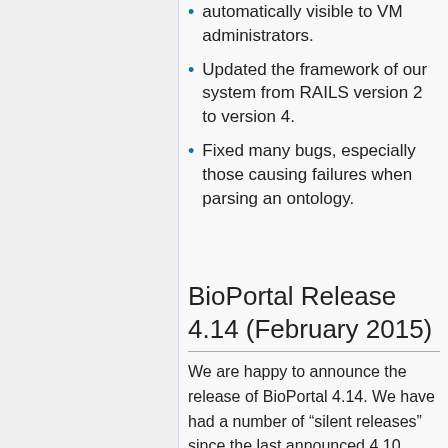automatically visible to VM administrators.
Updated the framework of our system from RAILS version 2 to version 4.
Fixed many bugs, especially those causing failures when parsing an ontology.
BioPortal Release 4.14 (February 2015)
We are happy to announce the release of BioPortal 4.14. We have had a number of “silent releases” since the last announced 4.10 release in September 2014. We are pleased to announce the latest BioPortal release and fill you in on features that have been released silently